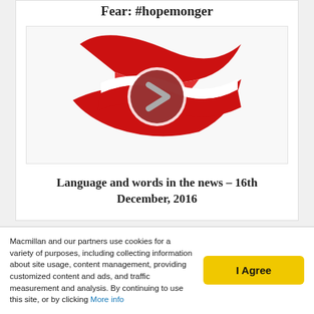Fear: #hopemonger
[Figure (illustration): A red swooping flag/banner logo with a circular play button (dark red circle with grey chevron/arrow) overlaid in the center — Macmillan Dictionary video thumbnail.]
Language and words in the news – 16th December, 2016
You may also like
Macmillan and our partners use cookies for a variety of purposes, including collecting information about site usage, content management, providing customized content and ads, and traffic measurement and analysis. By continuing to use this site, or by clicking More info